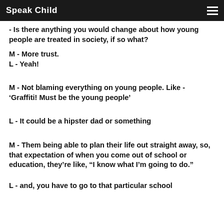Speak Child
- Is there anything you would change about how young people are treated in society, if so what?
M - More trust.
L - Yeah!
M - Not blaming everything on young people. Like - ‘Graffiti! Must be the young people’
L - It could be a hipster dad or something
M - Them being able to plan their life out straight away, so, that expectation of when you come out of school or education, they’re like, “I know what I’m going to do.”
L - and, you have to go to that particular school